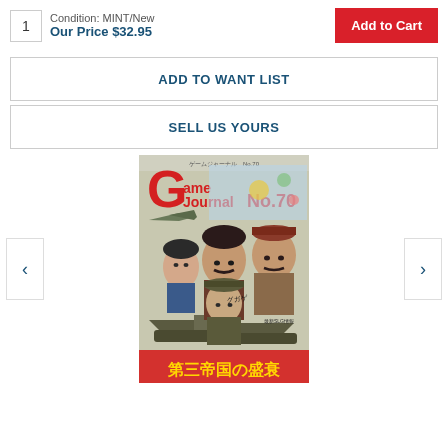1
Condition: MINT/New
Our Price $32.95
Add to Cart
ADD TO WANT LIST
SELL US YOURS
[Figure (illustration): Cover of Game Journal No. 70 magazine featuring illustrated portraits of WWII-era leaders and military vehicles, with Japanese text reading '第三帝国の盛衰' (Rise and Fall of the Third Reich)]